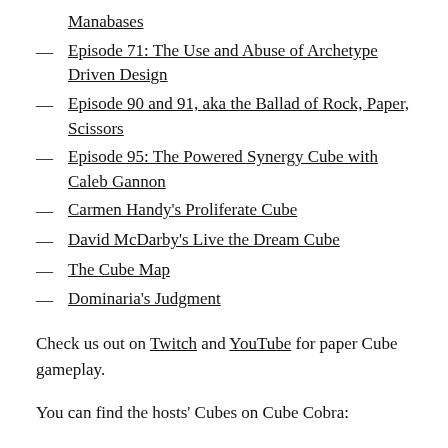Manabases
Episode 71: The Use and Abuse of Archetype Driven Design
Episode 90 and 91, aka the Ballad of Rock, Paper, Scissors
Episode 95: The Powered Synergy Cube with Caleb Gannon
Carmen Handy's Proliferate Cube
David McDarby's Live the Dream Cube
The Cube Map
Dominaria's Judgment
Check us out on Twitch and YouTube for paper Cube gameplay.
You can find the hosts' Cubes on Cube Cobra: